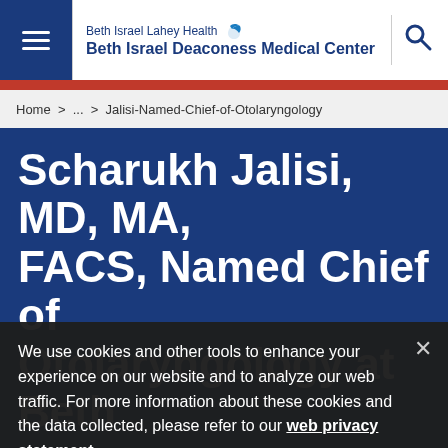Beth Israel Lahey Health Beth Israel Deaconess Medical Center
Home > ... > Jalisi-Named-Chief-of-Otolaryngology
Scharukh Jalisi, MD, MA, FACS, Named Chief of Otolaryngology at Beth Israel Deaconess Medical Center
We use cookies and other tools to enhance your experience on our website and to analyze our web traffic. For more information about these cookies and the data collected, please refer to our web privacy statement.